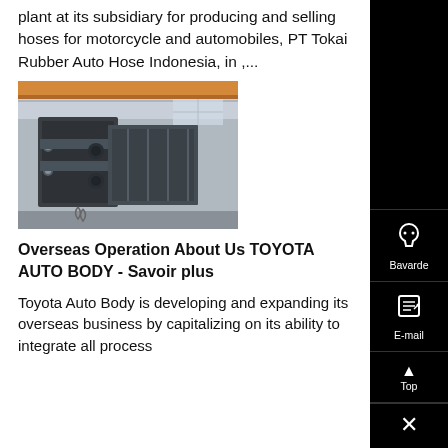plant at its subsidiary for producing and selling hoses for motorcycle and automobiles, PT Tokai Rubber Auto Hose Indonesia, in ,...
[Figure (photo): Factory/industrial equipment photograph showing large metal machinery or body panels in a manufacturing facility]
Overseas Operation About Us TOYOTA AUTO BODY - Savoir plus
Toyota Auto Body is developing and expanding its overseas business by capitalizing on its ability to integrate all process from development to manufacturing and distribution, and its ...